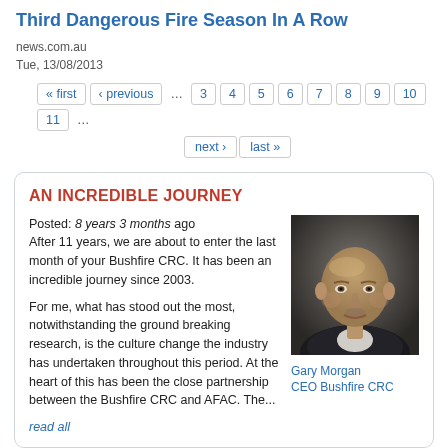Third Dangerous Fire Season In A Row
news.com.au
Tue, 13/08/2013
« first ‹ previous … 3 4 5 6 7 8 9 10 11 … next › last »
AN INCREDIBLE JOURNEY
Posted: 8 years 3 months ago
After 11 years, we are about to enter the last month of your Bushfire CRC. It has been an incredible journey since 2003.

For me, what has stood out the most, notwithstanding the ground breaking research, is the culture change the industry has undertaken throughout this period. At the heart of this has been the close partnership between the Bushfire CRC and AFAC. The...
[Figure (photo): Portrait photo of Gary Morgan, a bald middle-aged man in a suit, smiling slightly, dark background]
Gary Morgan
CEO Bushfire CRC
read all